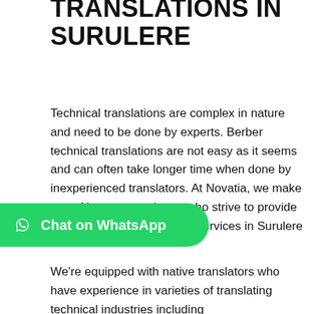TRANSLATIONS IN SURULERE
Technical translations are complex in nature and need to be done by experts. Berber technical translations are not easy as it seems and can often take longer time when done by inexperienced translators. At Novatia, we make use of human translators who strive to provide effective Berber translation services in Surulere
[Figure (other): Green WhatsApp chat button with WhatsApp logo icon and text 'Chat on WhatsApp']
We're equipped with native translators who have experience in varieties of translating technical industries including telecommunications, architecture, safety reports, patents, technical manuals, etc. By signing up for our Berber translation services in Surulere, you're assigned a personal project manager who chooses the right native linguist with the best